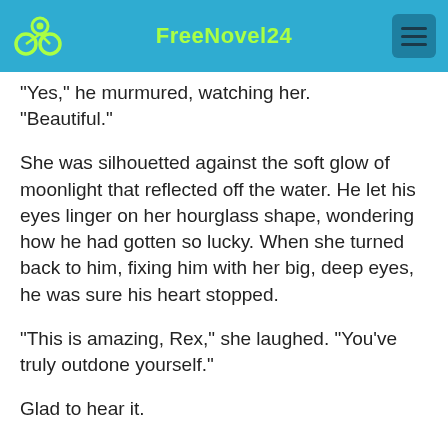FreeNovel24
“Yes,” he murmured, watching her. “Beautiful.”
She was silhouetted against the soft glow of moonlight that reflected off the water. He let his eyes linger on her hourglass shape, wondering how he had gotten so lucky. When she turned back to him, fixing him with her big, deep eyes, he was sure his heart stopped.
“This is amazing, Rex,” she laughed. “You’ve truly outdone yourself.”
Glad to hear it.